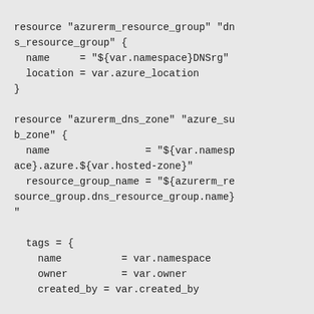resource "azurerm_resource_group" "dns_resource_group" {
  name     = "${var.namespace}DNSrg"
  location = var.azure_location
}

resource "azurerm_dns_zone" "azure_sub_zone" {
  name                = "${var.namespace}.azure.${var.hosted-zone}"
  resource_group_name = "${azurerm_resource_group.dns_resource_group.name}"

  tags = {
    name          = var.namespace
    owner         = var.owner
    created_by    = var.created_by